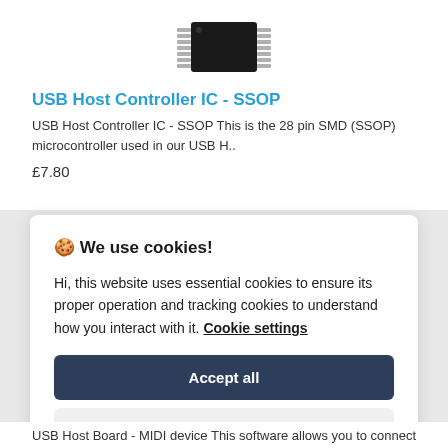[Figure (photo): Photo of a USB Host Controller IC in SSOP (28-pin SMD) package, black chip with silver leads on both sides, viewed from a slight angle.]
USB Host Controller IC - SSOP
USB Host Controller IC - SSOP This is the 28 pin SMD (SSOP) microcontroller used in our USB H..
£7.80
🍪 We use cookies!
Hi, this website uses essential cookies to ensure its proper operation and tracking cookies to understand how you interact with it. Cookie settings
Accept all
Reject all
USB Host Board - MIDI device This software allows you to connect